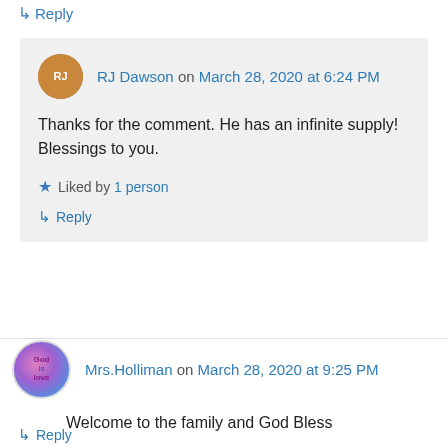↳ Reply
RJ Dawson on March 28, 2020 at 6:24 PM — Thanks for the comment. He has an infinite supply! Blessings to you. — Liked by 1 person — Reply
Mrs.Holliman on March 28, 2020 at 9:25 PM — Welcome to the family and God Bless — Like — Reply